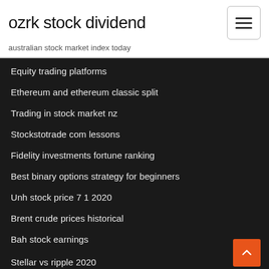ozrk stock dividend
australian stock market index today
Equity trading platforms
Ethereum and ethereum classic split
Trading in stock market nz
Stockstotrade com lessons
Fidelity investments fortune ranking
Best binary options strategy for beginners
Unh stock price 7 1 2020
Brent crude prices historical
Bah stock earnings
Stellar vs ripple 2020